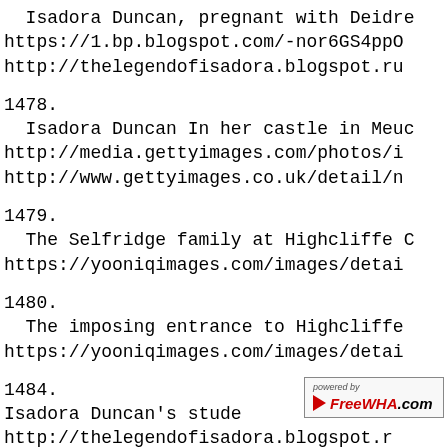Isadora Duncan, pregnant with Deidre
https://1.bp.blogspot.com/-nor6GS4ppO
http://thelegendofisadora.blogspot.ru
1478.
 Isadora Duncan In her castle in Meuc
http://media.gettyimages.com/photos/i
http://www.gettyimages.co.uk/detail/n
1479.
 The Selfridge family at Highcliffe C
https://yooniqimages.com/images/detai
1480.
 The imposing entrance to Highcliffe
https://yooniqimages.com/images/detai
1484.
Isadora Duncan's stude
http://thelegendofisadora.blogspot.r